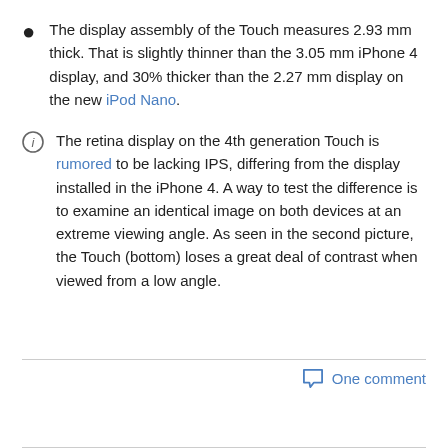The display assembly of the Touch measures 2.93 mm thick. That is slightly thinner than the 3.05 mm iPhone 4 display, and 30% thicker than the 2.27 mm display on the new iPod Nano.
The retina display on the 4th generation Touch is rumored to be lacking IPS, differing from the display installed in the iPhone 4. A way to test the difference is to examine an identical image on both devices at an extreme viewing angle. As seen in the second picture, the Touch (bottom) loses a great deal of contrast when viewed from a low angle.
One comment